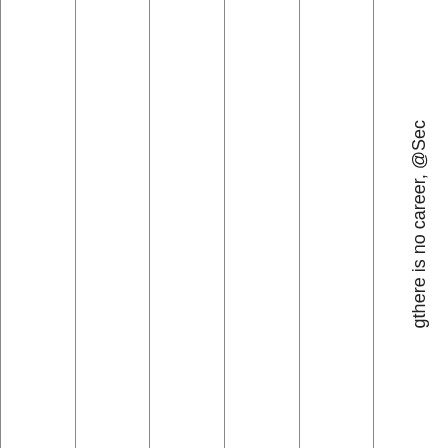[Figure (other): Seven vertical columns separated by thin dark borders, mostly empty white space. On the right side, vertical text reading 'gthere is no career, @Sec' running top to bottom.]
gthere is no career, @Sec